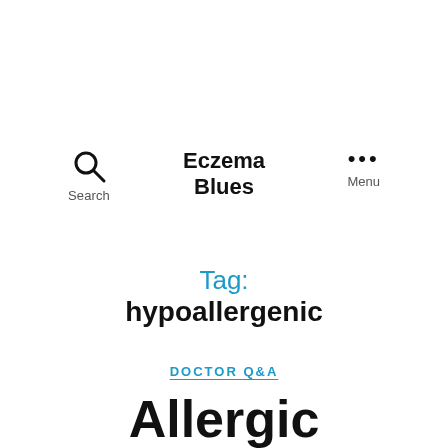Eczema Blues
Tag: hypoallergenic
DOCTOR Q&A
Allergic Contact